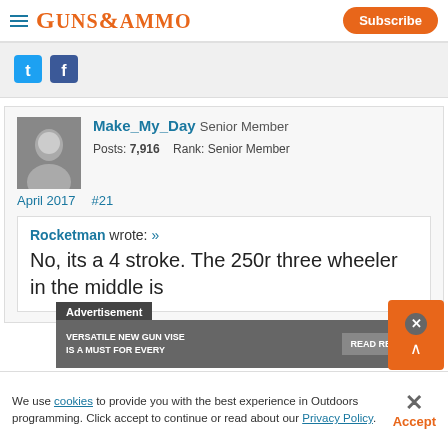GUNS&AMMO
[Figure (screenshot): Social share icons: Twitter and Facebook]
Make_My_Day Senior Member
Posts: 7,916   Rank: Senior Member
April 2017   #21
Rocketman wrote: »
No, its a 4 stroke. The 250r three wheeler in the middle is
Advertisement
VERSATILE NEW GUN VISE IS A MUST FOR EVERY
READ REVIEW
We use cookies to provide you with the best experience in Outdoors programming. Click accept to continue or read about our Privacy Policy.